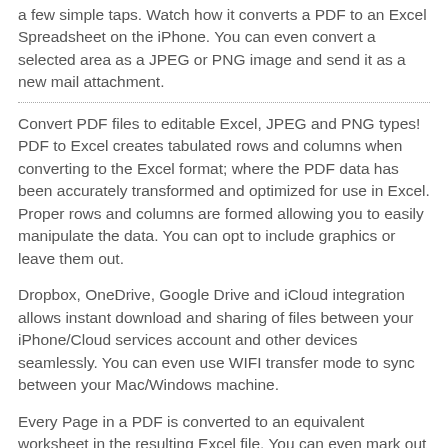a few simple taps. Watch how it converts a PDF to an Excel Spreadsheet on the iPhone. You can even convert a selected area as a JPEG or PNG image and send it as a new mail attachment.
Convert PDF files to editable Excel, JPEG and PNG types! PDF to Excel creates tabulated rows and columns when converting to the Excel format; where the PDF data has been accurately transformed and optimized for use in Excel. Proper rows and columns are formed allowing you to easily manipulate the data. You can opt to include graphics or leave them out.
Dropbox, OneDrive, Google Drive and iCloud integration allows instant download and sharing of files between your iPhone/Cloud services account and other devices seamlessly. You can even use WIFI transfer mode to sync between your Mac/Windows machine.
Every Page in a PDF is converted to an equivalent worksheet in the resulting Excel file. You can even mark out a specific area within a page and convert just the required area. PDF to Excel by PDF2Office saves you time and allows you to use PDFs on your iPhone productively.
1. To convert PDF files to Microsoft Excel on the iPhone you must install the PDF to Excel by PDF2Office app into the iPhone from the App store.
2. Then you run PDF to Excel by PDF2Office app on the iPhone and you must add the PDF files to convert to the Files list.